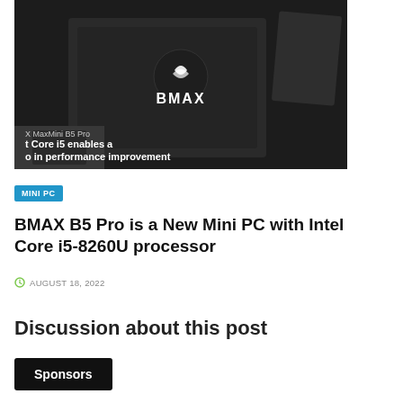[Figure (photo): Dark product photo of BMAX B5 Pro mini PC device on a dark background with BMAX logo visible. Overlay text reads 'X MaxMini B5 Pro' and 't Core i5 enables a o in performance improvement']
MINI PC
BMAX B5 Pro is a New Mini PC with Intel Core i5-8260U processor
AUGUST 18, 2022
Discussion about this post
Sponsors